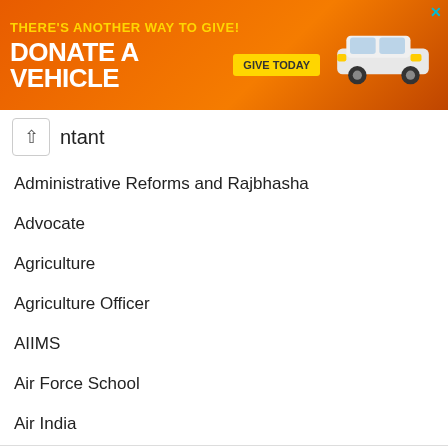[Figure (other): Advertisement banner: orange background with text 'THERE'S ANOTHER WAY TO GIVE! DONATE A VEHICLE' and a 'GIVE TODAY' button, plus a white car image and close X button]
ntant
Administrative Reforms and Rajbhasha
Advocate
Agriculture
Agriculture Officer
AIIMS
Air Force School
Air India
Air India Limited
Airports Authority of India
All India Institute of Medical Sciences
Allahabad High Court
AMTRON